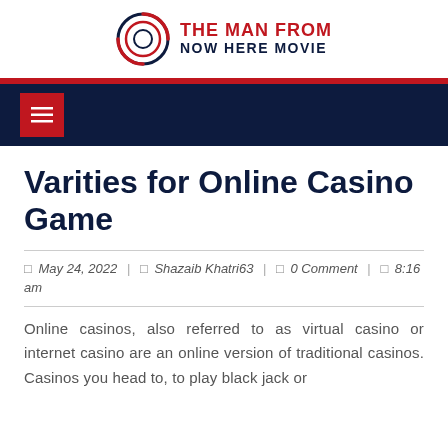THE MAN FROM NOW HERE MOVIE
Varities for Online Casino Game
□ May 24, 2022 | □ Shazaib Khatri63 | □ 0 Comment | □ 8:16 am
Online casinos, also referred to as virtual casino or internet casino are an online version of traditional casinos. Casinos you head to, to play black jack or